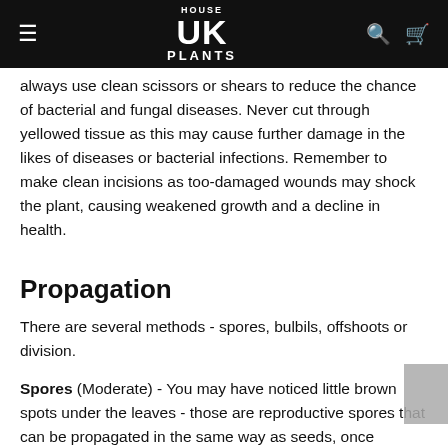HOUSE UK PLANTS
always use clean scissors or shears to reduce the chance of bacterial and fungal diseases. Never cut through yellowed tissue as this may cause further damage in the likes of diseases or bacterial infections. Remember to make clean incisions as too-damaged wounds may shock the plant, causing weakened growth and a decline in health.
Propagation
There are several methods - spores, bulbils, offshoots or division.
Spores (Moderate) - You may have noticed little brown spots under the leaves - those are reproductive spores that can be propagated in the same way as seeds, once matured. These zygotes will develop on the under-